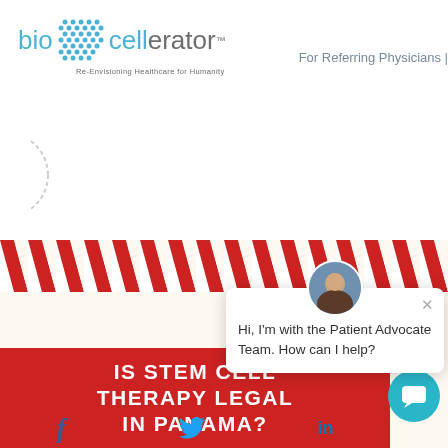[Figure (logo): Biocellerator logo with dot pattern and tagline 'Re-Envisioning Healthcare for Humanity']
For Referring Physicians |
[Figure (illustration): Partial circular navigation element at left edge]
[Figure (illustration): Red and white diagonal stripe band]
[Figure (photo): Chat popup with woman avatar photo, close button, and message: Hi, I'm with the Patient Advocate Team. How can I help?]
IS STEM CELL THERAPY LEGAL IN PANAMA?
[Figure (illustration): Teal chat bubble button]
[Figure (illustration): Social media icons: Facebook, Twitter, LinkedIn]